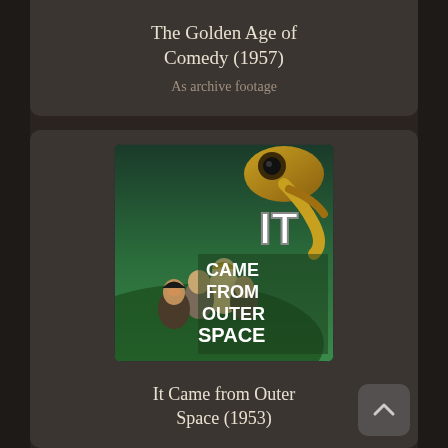The Golden Age of Comedy (1957)
As archive footage
[Figure (photo): Movie poster for 'It Came from Outer Space (1953)' showing people looking up in horror at an alien creature, with bold text reading IT CAME FROM OUTER SPACE]
It Came from Outer Space (1953)